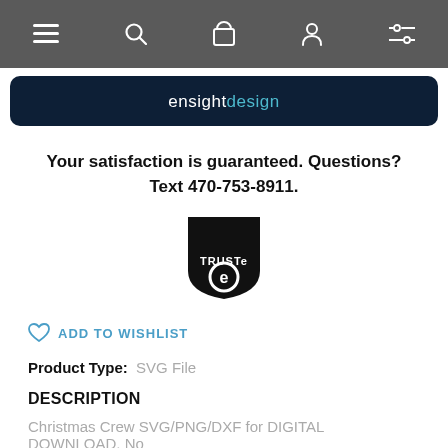Navigation bar with menu, search, cart, account, and filter icons
[Figure (logo): ensightdesign brand logo on dark navy banner]
Your satisfaction is guaranteed. Questions? Text 470-753-8911.
[Figure (logo): TRUSTe privacy seal logo]
ADD TO WISHLIST
Product Type:  SVG File
DESCRIPTION
Christmas Crew SVG/PNG/DXF for DIGITAL DOWNLOAD, No